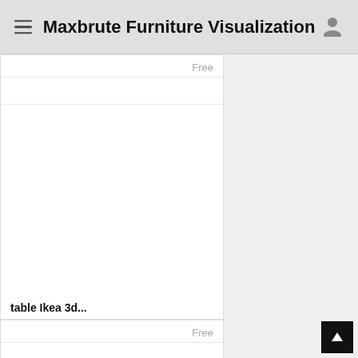Maxbrute Furniture Visualization
Free
[Figure (screenshot): White blank card image area for a furniture product]
table Ikea 3d...
Free
[Figure (screenshot): White blank card image area for another furniture product]